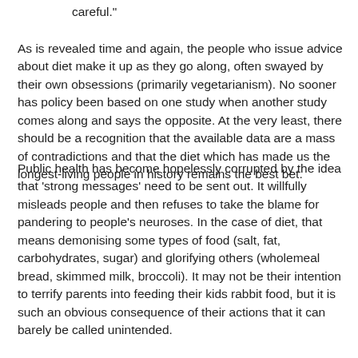careful."
As is revealed time and again, the people who issue advice about diet make it up as they go along, often swayed by their own obsessions (primarily vegetarianism). No sooner has policy been based on one study when another study comes along and says the opposite. At the very least, there should be a recognition that the available data are a mass of contradictions and that the diet which has made us the longest-living people in history remains the best bet.
Public health has become hopelessly corrupted by the idea that 'strong messages' need to be sent out. It willfully misleads people and then refuses to take the blame for pandering to people's neuroses. In the case of diet, that means demonising some types of food (salt, fat, carbohydrates, sugar) and glorifying others (wholemeal bread, skimmed milk, broccoli). It may not be their intention to terrify parents into feeding their kids rabbit food, but it is such an obvious consequence of their actions that it can barely be called unintended.